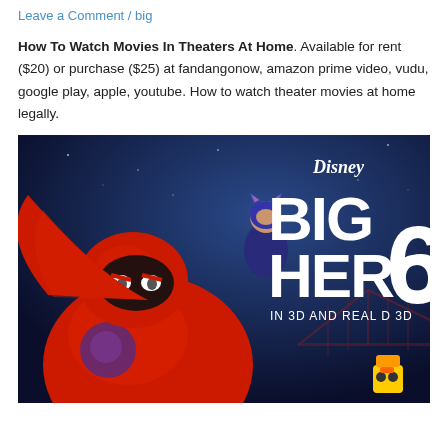Leave a Comment / big
How To Watch Movies In Theaters At Home. Available for rent ($20) or purchase ($25) at fandangonow, amazon prime video, vudu, google play, apple, youtube. How to watch theater movies at home legally.
[Figure (photo): Big Hero 6 Disney movie poster showing Baymax (large red robot) and Hiro character flying, with 'BIG HERO 6 IN 3D AND Real D 3D' text and Disney logo, blue background with city skyline and bridge]